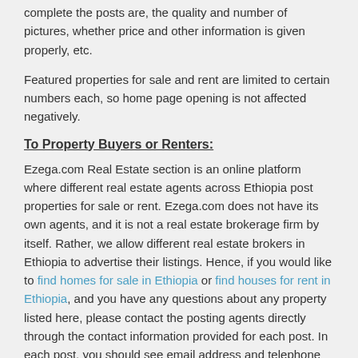complete the posts are, the quality and number of pictures, whether price and other information is given properly, etc.
Featured properties for sale and rent are limited to certain numbers each, so home page opening is not affected negatively.
To Property Buyers or Renters:
Ezega.com Real Estate section is an online platform where different real estate agents across Ethiopia post properties for sale or rent. Ezega.com does not have its own agents, and it is not a real estate brokerage firm by itself. Rather, we allow different real estate brokers in Ethiopia to advertise their listings. Hence, if you would like to find homes for sale in Ethiopia or find houses for rent in Ethiopia, and you have any questions about any property listed here, please contact the posting agents directly through the contact information provided for each post. In each post, you should see email address and telephone number of the corresponding agent on the right side of the page.
Prospective buyers or renters should know that the prices indicated for listed properties are generally negotiable, as is generally the case in buying and selling goods and services in Ethiopia. Hence prospective buyers or renters are advised to contact the listing agent for the property of interest and get as much information as possible. If you are a home buyer in Addis Ababa, for example, find houses for sale in Addis Ababa on this site and contact the listing agent directly and ask for all the